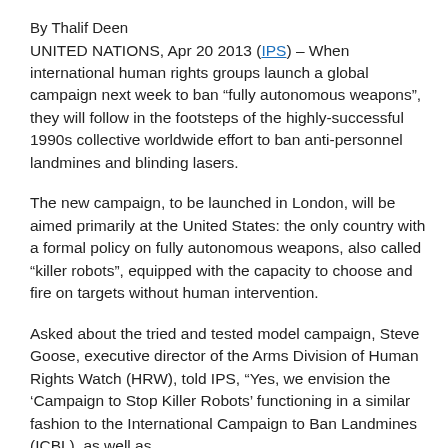By Thalif Deen
UNITED NATIONS, Apr 20 2013 (IPS) – When international human rights groups launch a global campaign next week to ban “fully autonomous weapons”, they will follow in the footsteps of the highly-successful 1990s collective worldwide effort to ban anti-personnel landmines and blinding lasers.
The new campaign, to be launched in London, will be aimed primarily at the United States: the only country with a formal policy on fully autonomous weapons, also called “killer robots”, equipped with the capacity to choose and fire on targets without human intervention.
Asked about the tried and tested model campaign, Steve Goose, executive director of the Arms Division of Human Rights Watch (HRW), told IPS, “Yes, we envision the ‘Campaign to Stop Killer Robots’ functioning in a similar fashion to the International Campaign to Ban Landmines (ICBL), as well as